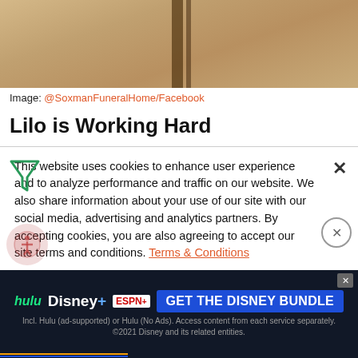[Figure (photo): Cropped photo showing a tiled floor with dark stripe, top portion of image]
Image: @SoxmanFuneralHome/Facebook
Lilo is Working Hard
Lilo has already used her skills to help many people during dark times. Clyde Boyd is grateful that Lilo was there to help him during the preparations for
This website uses cookies to enhance user experience and to analyze performance and traffic on our website. We also share information about your use of our site with our social media, advertising and analytics partners. By accepting cookies, you are also agreeing to accept our site terms and conditions. Terms & Conditions
[Figure (infographic): Disney Bundle advertisement banner: hulu Disney+ ESPN+ GET THE DISNEY BUNDLE. Incl. Hulu (ad-supported) or Hulu (No Ads). Access content from each service separately. ©2021 Disney and its related entities.]